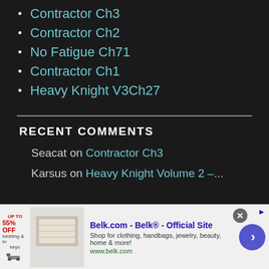Contractor Ch3
Contractor Ch2
No Fatigue Ch71
Contractor Ch1
Heavy Knight V3Ch27
RECENT COMMENTS
Seacat on Contractor Ch3
Karsus on Heavy Knight Volume 2 –...
[Figure (other): Advertisement banner for Belk.com - Belk Official Site. Shows product image, text: Shop for clothing, handbags, jewelry, beauty, home & more! www.belk.com. Has close button and arrow navigation button.]